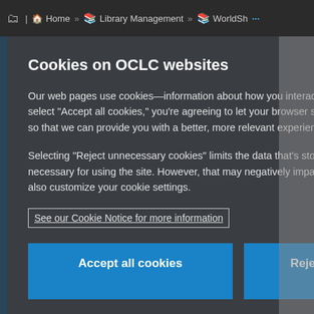Home » Library Management » WorldSh ...
Cookies on OCLC websites
Our web pages use cookies—information about how you interact with the site. When you select “Accept all cookies,” you’re agreeing to let your browser store that data on your device so that we can provide you with a better, more relevant experience.
Selecting “Reject unnecessary cookies” limits the data that’s stored to what’s strictly necessary for using the site. However, that may negatively impact your experience. You can also customize your cookie settings.
See our Cookie Notice for more information
Accept all cookies
Reject unnecessary cookies
Customize cookie settings